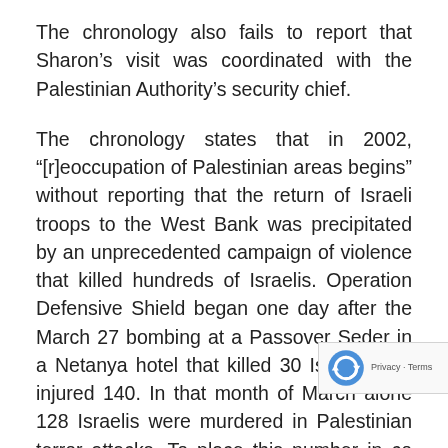The chronology also fails to report that Sharon’s visit was coordinated with the Palestinian Authority’s security chief.
The chronology states that in 2002, “[r]eoccupation of Palestinian areas begins” without reporting that the return of Israeli troops to the West Bank was precipitated by an unprecedented campaign of violence that killed hundreds of Israelis. Operation Defensive Shield began one day after the March 27 bombing at a Passover Seder in a Netanya hotel that killed 30 Israelis and injured 140. In that month of March alone 128 Israelis were murdered in Palestinian terror attacks. To place this number in co consider that as a percentage of the population, this would be comparable to the